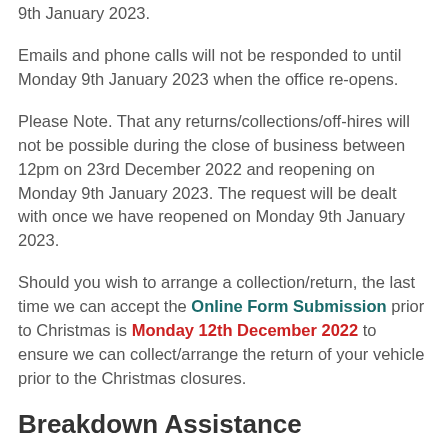9th January 2023.
Emails and phone calls will not be responded to until Monday 9th January 2023 when the office re-opens.
Please Note. That any returns/collections/off-hires will not be possible during the close of business between 12pm on 23rd December 2022 and reopening on Monday 9th January 2023. The request will be dealt with once we have reopened on Monday 9th January 2023.
Should you wish to arrange a collection/return, the last time we can accept the Online Form Submission prior to Christmas is Monday 12th December 2022 to ensure we can collect/arrange the return of your vehicle prior to the Christmas closures.
Breakdown Assistance